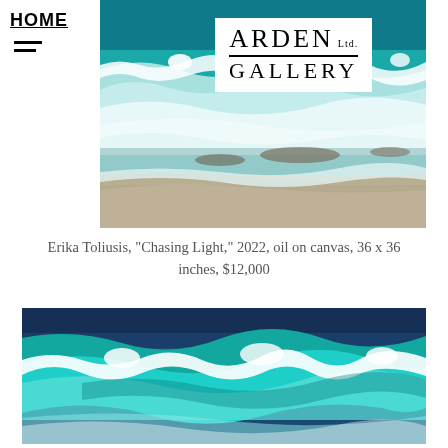HOME
[Figure (photo): Ocean waves painting showing crashing surf on a beach with white foam and teal water, with Arden Gallery Ltd. logo overlaid in top-left corner]
Erika Toliusis, "Chasing Light," 2022, oil on canvas, 36 x 36 inches, $12,000
[Figure (photo): Ocean waves painting showing a large turquoise wave curling and breaking with white seafoam, deep blue sky in background]